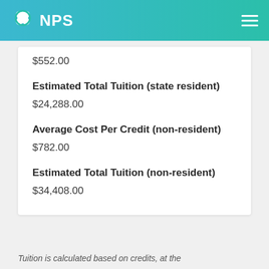NPS
$552.00
Estimated Total Tuition (state resident)
$24,288.00
Average Cost Per Credit (non-resident)
$782.00
Estimated Total Tuition (non-resident)
$34,408.00
Tuition is calculated based on credits, at the